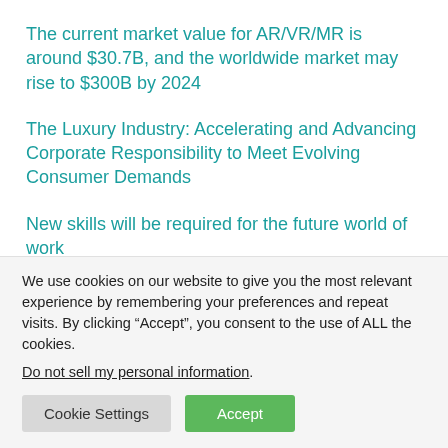The current market value for AR/VR/MR is around $30.7B, and the worldwide market may rise to $300B by 2024
The Luxury Industry: Accelerating and Advancing Corporate Responsibility to Meet Evolving Consumer Demands
New skills will be required for the future world of work
We use cookies on our website to give you the most relevant experience by remembering your preferences and repeat visits. By clicking “Accept”, you consent to the use of ALL the cookies.
Do not sell my personal information.